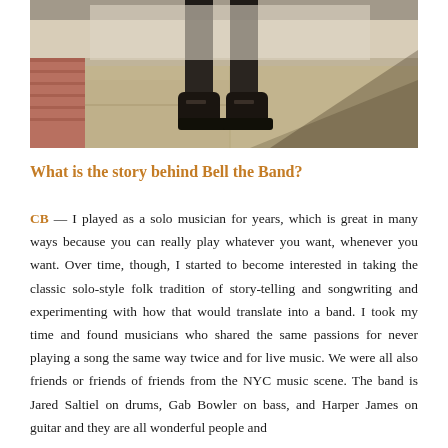[Figure (photo): Close-up photo showing the lower body and feet of a person wearing dark pants and black ankle boots, standing on a sidewalk/pavement, with a blurred shadow cast diagonally across the ground.]
What is the story behind Bell the Band?
CB — I played as a solo musician for years, which is great in many ways because you can really play whatever you want, whenever you want. Over time, though, I started to become interested in taking the classic solo-style folk tradition of story-telling and songwriting and experimenting with how that would translate into a band. I took my time and found musicians who shared the same passions for never playing a song the same way twice and for live music. We were all also friends or friends of friends from the NYC music scene. The band is Jared Saltiel on drums, Gab Bowler on bass, and Harper James on guitar and they are all wonderful people and